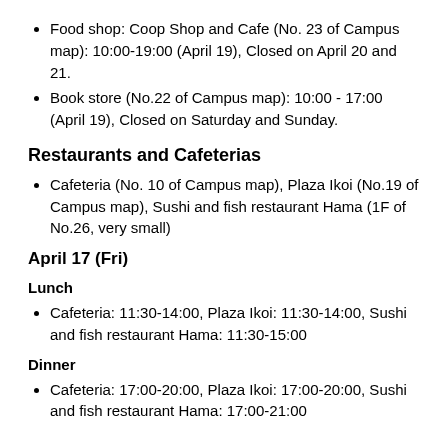Food shop: Coop Shop and Cafe (No. 23 of Campus map): 10:00-19:00 (April 19), Closed on April 20 and 21.
Book store (No.22 of Campus map): 10:00 - 17:00 (April 19), Closed on Saturday and Sunday.
Restaurants and Cafeterias
Cafeteria (No. 10 of Campus map), Plaza Ikoi (No.19 of Campus map), Sushi and fish restaurant Hama (1F of No.26, very small)
April 17 (Fri)
Lunch
Cafeteria: 11:30-14:00, Plaza Ikoi: 11:30-14:00, Sushi and fish restaurant Hama: 11:30-15:00
Dinner
Cafeteria: 17:00-20:00, Plaza Ikoi: 17:00-20:00, Sushi and fish restaurant Hama: 17:00-21:00